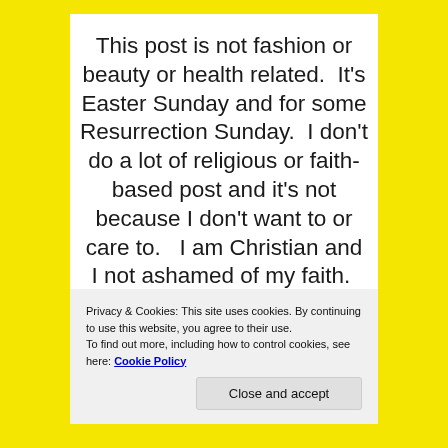This post is not fashion or beauty or health related.  It's Easter Sunday and for some Resurrection Sunday.  I don't do a lot of religious or faith-based post and it's not because I don't want to or care to.   I am Christian and I not ashamed of my faith.  Many times those of us who are of the Christian faith are guilty of not truly walking
Privacy & Cookies: This site uses cookies. By continuing to use this website, you agree to their use.
To find out more, including how to control cookies, see here: Cookie Policy
Close and accept